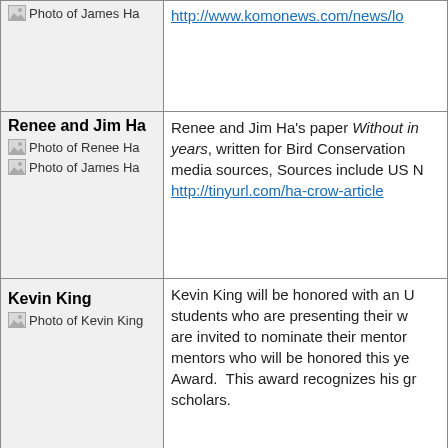| Person | Description |
| --- | --- |
| Photo of James Ha | http://www.komonews.com/news/lo… |
| Renee and Jim Ha
Photo of Renee Ha
Photo of James Ha | Renee and Jim Ha's paper Without in…years, written for Bird Conservation…media sources, Sources include US N…
http://tinyurl.com/ha-crow-article |
| Kevin King
Photo of Kevin King | Kevin King will be honored with an U…students who are presenting their w…are invited to nominate their mentor…mentors who will be honored this ye…Award.  This award recognizes his gr…scholars. |
|  |  |